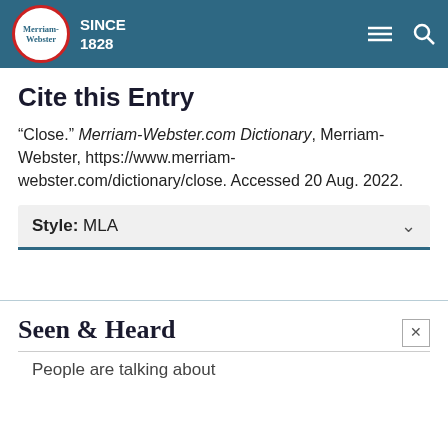Merriam-Webster SINCE 1828
Cite this Entry
“Close.” Merriam-Webster.com Dictionary, Merriam-Webster, https://www.merriam-webster.com/dictionary/close. Accessed 20 Aug. 2022.
Style: MLA
Seen & Heard
People are talking about